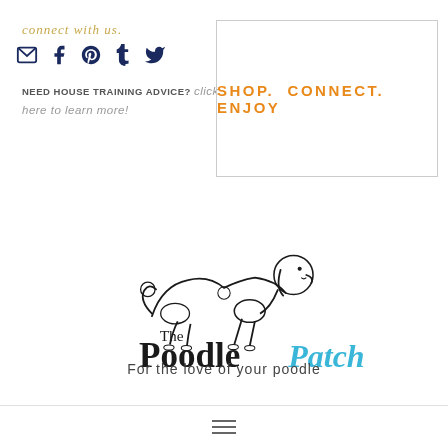connect with us.
[Figure (illustration): Social media icons: email, Facebook, Pinterest, Tumblr, Twitter in dark navy blue]
NEED HOUSE TRAINING ADVICE? click here to learn more!
SHOP. CONNECT. ENJOY
[Figure (logo): The Poodle Patch logo - a poodle dog outline illustration with text 'The Poodle Patch' and tagline 'For the love of your poodle']
[Figure (illustration): Hamburger menu icon with three horizontal lines]